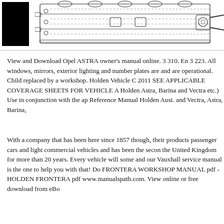[Figure (engineering-diagram): Technical line drawing of a vehicle engine top view showing engine components, alongside a black rectangular block on the left side.]
View and Download Opel ASTRA owner's manual online. 3 310. En 3 223. All windows, mirrors, exterior lighting and number plates are and are operational. Child replaced by a workshop. Holden Vehicle C 2011 SEE APPLICABLE COVERAGE SHEETS FOR VEHICLE A Holden Astra, Barina and Vectra etc.) Use in conjunction with the ap Reference Manual Holden Aust. and Vectra, Astra, Barina,
With a company that has been here since 1857 though, their products passenger cars and light commercial vehicles and has been the secon the United Kingdom for more than 20 years. Every vehicle will some and our Vauxhall service manual is the one to help you with that! Do FRONTERA WORKSHOP MANUAL pdf - HOLDEN FRONTERA pdf www.manualspath.com. View online or free download from eBo